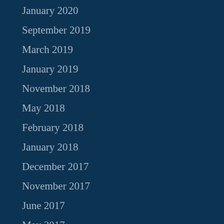January 2020
September 2019
March 2019
January 2019
November 2018
May 2018
February 2018
January 2018
December 2017
November 2017
June 2017
May 2017
April 2017
March 2017
February 2017